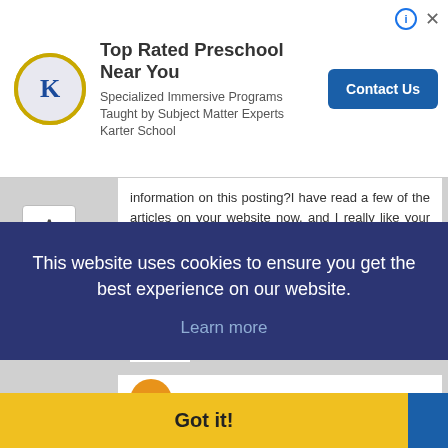[Figure (other): Advertisement banner for Karter School with circular logo, text 'Top Rated Preschool Near You', subtitle 'Specialized Immersive Programs Taught by Subject Matter Experts Karter School', and a 'Contact Us' button. Info and close icons top right.]
information on this posting?I have read a few of the articles on your website now, and I really like your style. Thanks a million and please keep up the effective work. ????? https://www.topseom.com/
Reply
Unknown  10 January 2021 at 21:08
This website uses cookies to ensure you get the best experience on our website.
Learn more
Got it!